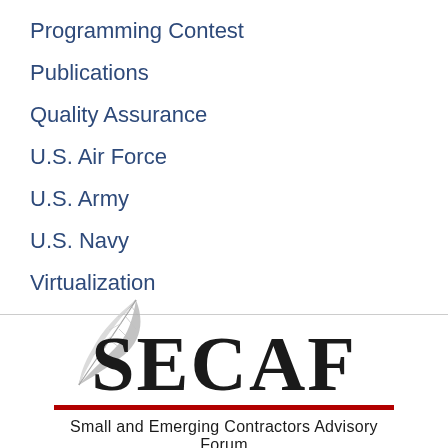Programming Contest
Publications
Quality Assurance
U.S. Air Force
U.S. Army
U.S. Navy
Virtualization
[Figure (logo): SECAF logo — Small and Emerging Contractors Advisory Forum, with a feather quill graphic, bold SECAF text, red horizontal bar, subtitle 'Small and Emerging Contractors Advisory Forum', and red bold text 'GOVT CONTRACTOR OF THE YEAR']